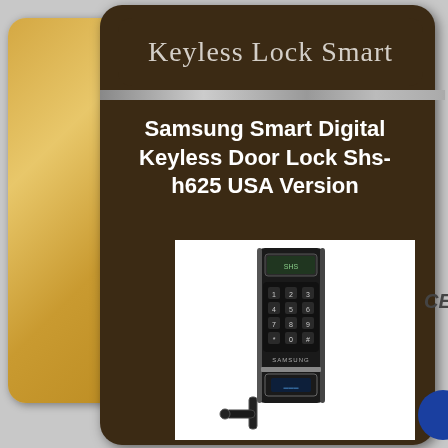Keyless Lock Smart
Samsung Smart Digital Keyless Door Lock Shs-h625 USA Version
[Figure (photo): Samsung Smart Digital Keyless Door Lock Shs-h625 product photo showing a black touchpad keypad unit with numeric keypad, fingerprint scanner, and door handle lever]